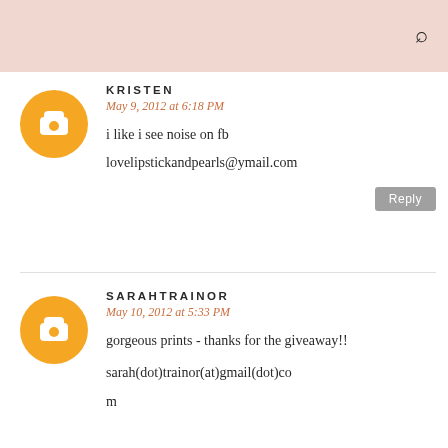KRISTEN
May 9, 2012 at 6:18 PM
i like i see noise on fb
lovelipstickandpearls@ymail.com
SARAHTRAINOR
May 10, 2012 at 5:33 PM
gorgeous prints - thanks for the giveaway!!

sarah(dot)trainor(at)gmail(dot)com